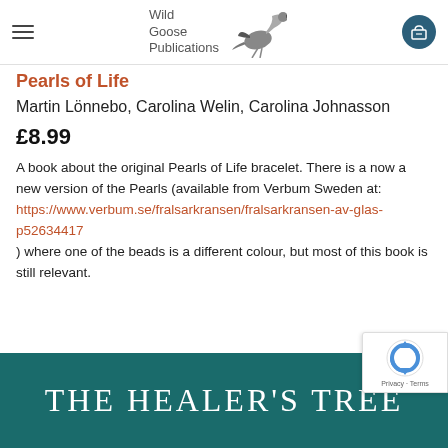Wild Goose Publications
Pearls of Life
Martin Lönnebo, Carolina Welin, Carolina Johnasson
£8.99
A book about the original Pearls of Life bracelet. There is a now a new version of the Pearls (available from Verbum Sweden at: https://www.verbum.se/fralsarkransen/fralsarkransen-av-glas-p52634417 ) where one of the beads is a different colour, but most of this book is still relevant.
[Figure (screenshot): Bottom banner showing 'THE HEALER'S TREE' text in white on teal/dark green background, partially cut off on the right. A reCAPTCHA badge is overlaid in the bottom right corner.]